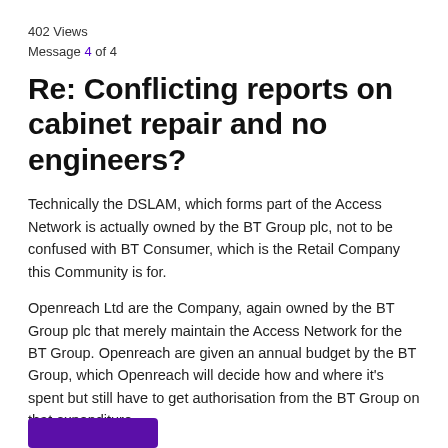402 Views
Message 4 of 4
Re: Conflicting reports on cabinet repair and no engineers?
Technically the DSLAM, which forms part of the Access Network is actually owned by the BT Group plc, not to be confused with BT Consumer, which is the Retail Company this Community is for.
Openreach Ltd are the Company, again owned by the BT Group plc that merely maintain the Access Network for the BT Group. Openreach are given an annual budget by the BT Group, which Openreach will decide how and where it’s spent but still have to get authorisation from the BT Group on that expenditure.